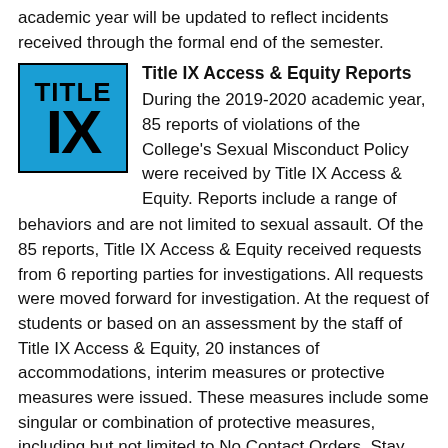academic year will be updated to reflect incidents received through the formal end of the semester.
[Figure (logo): Title IX logo — blue square with black border, white text reading TITLE IX]
Title IX Access & Equity Reports
During the 2019-2020 academic year, 85 reports of violations of the College's Sexual Misconduct Policy were received by Title IX Access & Equity. Reports include a range of behaviors and are not limited to sexual assault. Of the 85 reports, Title IX Access & Equity received requests from 6 reporting parties for investigations. All requests were moved forward for investigation. At the request of students or based on an assessment by the staff of Title IX Access & Equity, 20 instances of accommodations, interim measures or protective measures were issued. These measures include some singular or combination of protective measures, including but not limited to No Contact Orders, Stay Away Directives; Third-Party accommodations, and work and classroom accommodations.
**************************